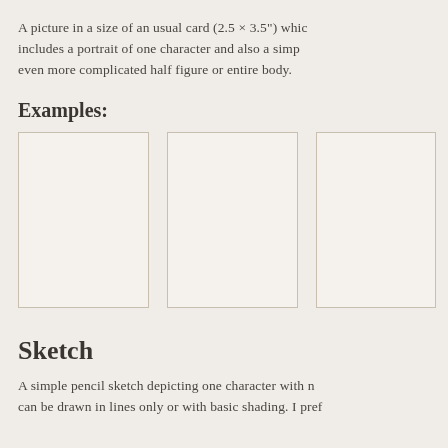A picture in a size of an usual card (2.5 × 3.5") which includes a portrait of one character and also a simple even more complicated half figure or entire body.
Examples:
[Figure (illustration): Three empty card-sized rectangles shown as examples, arranged in a row. Each rectangle has a thin beige/tan border on a light background.]
Sketch
A simple pencil sketch depicting one character with n can be drawn in lines only or with basic shading. I pref